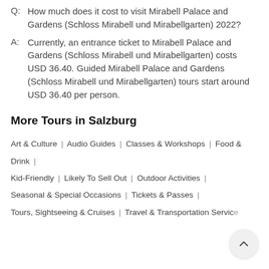Q: How much does it cost to visit Mirabell Palace and Gardens (Schloss Mirabell und Mirabellgarten) 2022?
A: Currently, an entrance ticket to Mirabell Palace and Gardens (Schloss Mirabell und Mirabellgarten) costs USD 36.40. Guided Mirabell Palace and Gardens (Schloss Mirabell und Mirabellgarten) tours start around USD 36.40 per person.
More Tours in Salzburg
Art & Culture | Audio Guides | Classes & Workshops | Food & Drink | Kid-Friendly | Likely To Sell Out | Outdoor Activities | Seasonal & Special Occasions | Tickets & Passes | Tours, Sightseeing & Cruises | Travel & Transportation Services